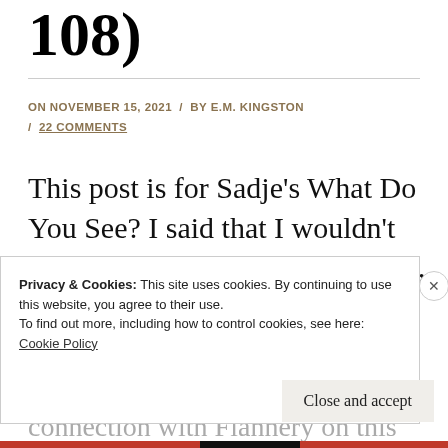108)
ON NOVEMBER 15, 2021 / BY E.M. KINGSTON / 22 COMMENTS
This post is for Sadje's What Do You See? I said that I wouldn't be posting any more of my book, but I couldn't resist any longer. Plus, I was inspired to start Brooke's connection with Flannery on this post with
Privacy & Cookies: This site uses cookies. By continuing to use this website, you agree to their use.
To find out more, including how to control cookies, see here:
Cookie Policy
Close and accept